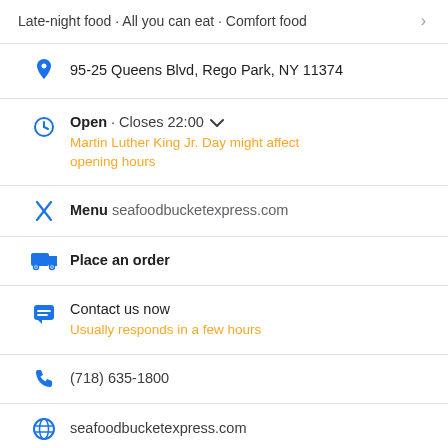Late-night food · All you can eat · Comfort food
95-25 Queens Blvd, Rego Park, NY 11374
Open · Closes 22:00
Martin Luther King Jr. Day might affect opening hours
Menu seafoodbucketexpress.com
Place an order
Contact us now
Usually responds in a few hours
(718) 635-1800
seafoodbucketexpress.com